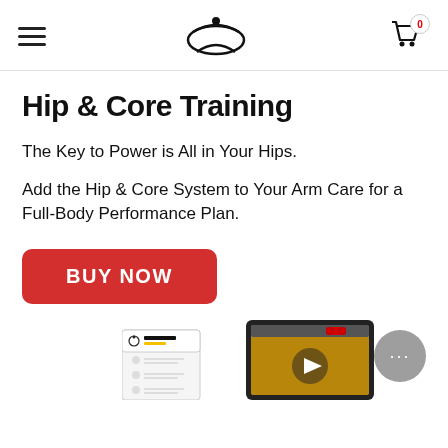Hip & Core Training — navigation header with hamburger menu, logo, and cart icon (0 items)
Hip & Core Training
The Key to Power is All in Your Hips.
Add the Hip & Core System to Your Arm Care for a Full-Body Performance Plan.
BUY NOW
[Figure (photo): Product images showing Hip & Core System booklet and a tablet displaying workout content]